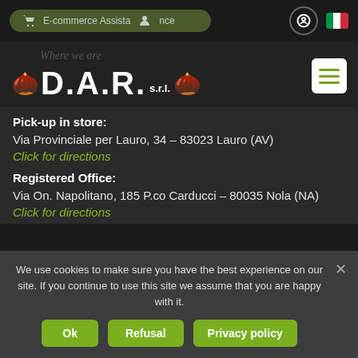E-commerce Assistance
[Figure (logo): D.A.R. s.r.l. logo with hazelnut/nut graphics and 'Where we are' watermark text]
Pick-up in store:
Via Provinciale per Lauro, 34 – 83023 Lauro (AV)
Click for directions
Registered Office:
Via On. Napolitano, 185 P.co Carducci – 80035 Nola (NA)
Click for directions
We use cookies to make sure you have the best experience on our site. If you continue to use this site we assume that you are happy with it.